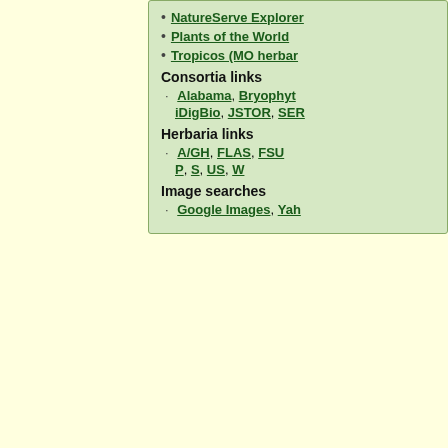NatureServe Explorer
Plants of the World
Tropicos (MO herbar…)
Consortia links
Alabama, Bryophyt… iDigBio, JSTOR, SER…
Herbaria links
A/GH, FLAS, FSU… P, S, US, W
Image searches
Google Images, Yah…
Source
| County | Herbaria | Literature Citation (If Applicable) |
| --- | --- | --- |
| Bay | FLAS |  |
| Clay | USF |  |
| Dixie | USF |  |
| Jackson | FLAS |  |
| Jefferson | USF |  |
+ Expand All